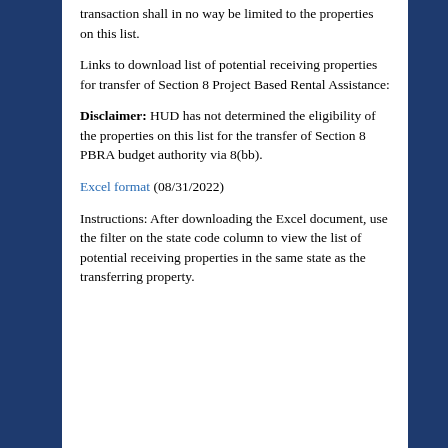transaction shall in no way be limited to the properties on this list.
Links to download list of potential receiving properties for transfer of Section 8 Project Based Rental Assistance:
Disclaimer: HUD has not determined the eligibility of the properties on this list for the transfer of Section 8 PBRA budget authority via 8(bb).
Excel format (08/31/2022)
Instructions: After downloading the Excel document, use the filter on the state code column to view the list of potential receiving properties in the same state as the transferring property.